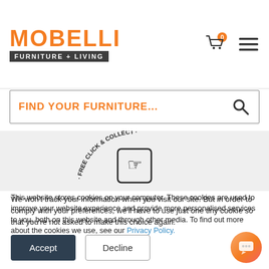[Figure (logo): Mobelli Furniture + Living logo with orange text and dark grey subtitle bar]
[Figure (illustration): Search bar with orange placeholder text FIND YOUR FURNITURE... and a magnifying glass icon]
[Figure (illustration): Circular badge showing FREE CLICK & COLLECT with a pointing hand cursor icon, partially visible]
This website stores cookies on your computer. These cookies are used to improve your website experience and provide more personalised services to you, both on this website and through other media. To find out more about the cookies we use, see our Privacy Policy.
We won't track your information when you visit our site. But in order to comply with your preferences, we'll have to use just one tiny cookie so that you're not asked to make this choice again.
[Figure (illustration): Accept and Decline buttons for cookie consent, and a chat bubble icon in the bottom right]